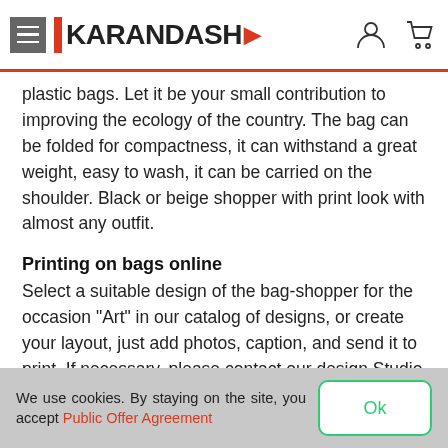KARANDASH
plastic bags. Let it be your small contribution to improving the ecology of the country. The bag can be folded for compactness, it can withstand a great weight, easy to wash, it can be carried on the shoulder. Black or beige shopper with print look with almost any outfit.
Printing on bags online
Select a suitable design of the bag-shopper for the occasion "Art" in our catalog of designs, or create your layout, just add photos, caption, and send it to print. If necessary, please contact our design Studio for the development of exclusive layout.
Prices, discounts, terms
Bags shoppers with a print order of 1 jokes, custom or urgent. Delivery in Minsk and Belarus. Discover the best
We use cookies. By staying on the site, you accept Public Offer Agreement